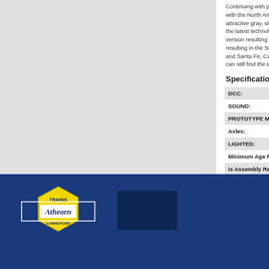[Figure (photo): Gray placeholder image area on the left side of the page]
Continuing with p... with the North Ame... attractive gray, sil... the latest technolo... version resulting in... resulting in the SD... and Santa Fe, Ca... can still find the en...
Specifications
| DCC: |
| SOUND: |
| PROTOTYPE MA... |
| Axles: |
| LIGHTED: |
| Minimum Age Re... |
| Is Assembly Re... |
[Figure (logo): Athearn Trains in Miniature logo — yellow diamond/hexagon badge with 'TRAINS' text, 'Athearn' script in white box, 'in MINIATURE' text below, on dark blue footer background]